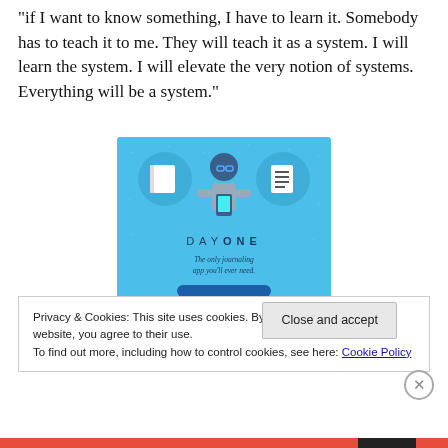"if I want to know something, I have to learn it. Somebody has to teach it to me. They will teach it as a system. I will learn the system. I will elevate the very notion of systems. Everything will be a system."
[Figure (illustration): Day One journaling app advertisement. Blue background with small plus/star icons scattered. A person holding a phone, flanked by two circular icons showing notebook and list. Text reads 'D A Y ONE' and 'The only journaling app you'll ever need.']
Privacy & Cookies: This site uses cookies. By continuing to use this website, you agree to their use.
To find out more, including how to control cookies, see here: Cookie Policy
Close and accept